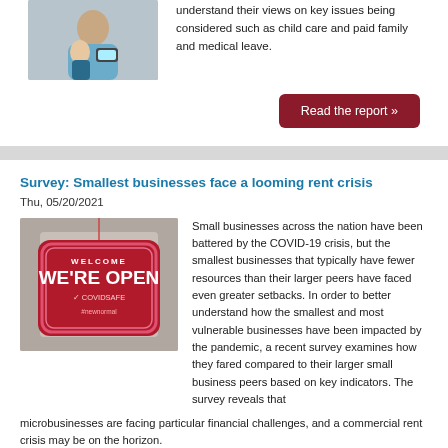understand their views on key issues being considered such as child care and paid family and medical leave.
[Figure (photo): Photo of a person holding a child, looking at a phone]
Read the report »
Survey: Smallest businesses face a looming rent crisis
Thu, 05/20/2021
[Figure (photo): Photo of a red 'Welcome WE'RE OPEN COVIDSAFE #newnormal' hanging sign]
Small businesses across the nation have been battered by the COVID-19 crisis, but the smallest businesses that typically have fewer resources than their larger peers have faced even greater setbacks. In order to better understand how the smallest and most vulnerable businesses have been impacted by the pandemic, a recent survey examines how they fared compared to their larger small business peers based on key indicators. The survey reveals that microbusinesses are facing particular financial challenges, and a commercial rent crisis may be on the horizon.